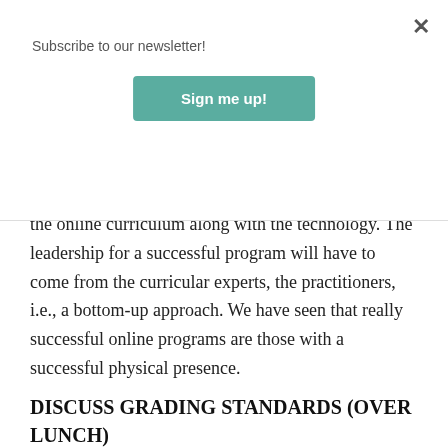Subscribe to our newsletter!
[Figure (other): Sign me up! button — teal/green rounded rectangle button for newsletter subscription]
the online curriculum along with the technology. The leadership for a successful program will have to come from the curricular experts, the practitioners, i.e., a bottom-up approach. We have seen that really successful online programs are those with a successful physical presence.
DISCUSS GRADING STANDARDS (OVER LUNCH)
David Fott, Associate Professor of Political